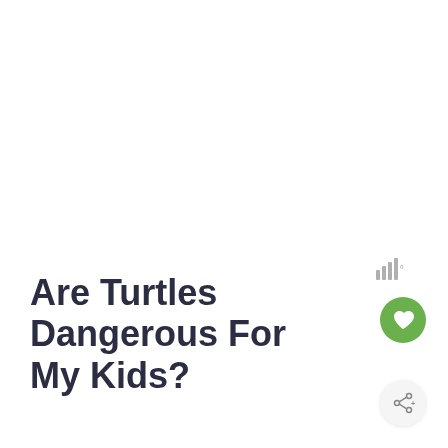[Figure (other): Weather signal bars icon with degree symbol, light gray color, positioned in upper right area]
Are Turtles Dangerous For My Kids?
[Figure (other): Green circular heart/favorite button icon]
[Figure (other): Light gray circular share button icon with share/network symbol and plus sign]